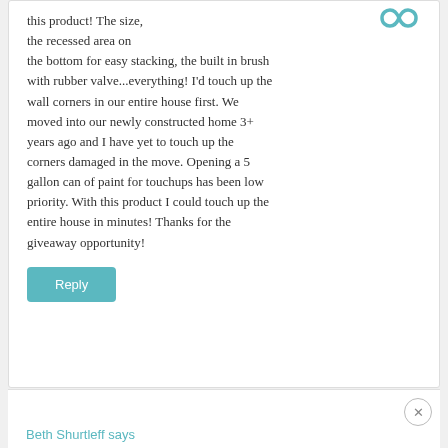[Figure (illustration): Teal infinity symbol icon in top right of comment box]
this product! The size, the recessed area on the bottom for easy stacking, the built in brush with rubber valve...everything! I'd touch up the wall corners in our entire house first. We moved into our newly constructed home 3+ years ago and I have yet to touch up the corners damaged in the move. Opening a 5 gallon can of paint for touchups has been low priority. With this product I could touch up the entire house in minutes! Thanks for the giveaway opportunity!
Reply
Beth Shurtleff says